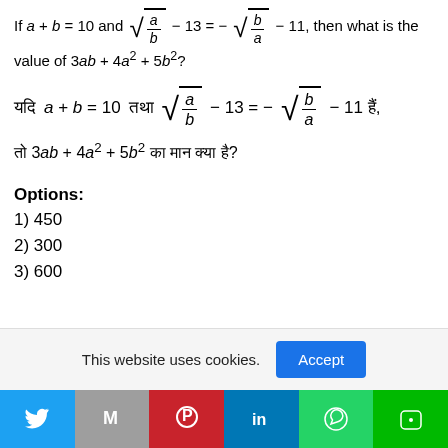If a + b = 10 and sqrt(a/b) - 13 = -sqrt(b/a) - 11, then what is the value of 3ab + 4a² + 5b²?
तो 3ab + 4a² + 5b² का मान क्या है?
Options:
1) 450
2) 300
3) 600
This website uses cookies.